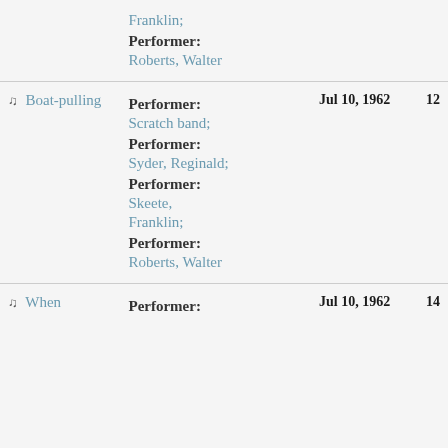| Title | Role/Performer | Date | Track |
| --- | --- | --- | --- |
|  | Franklin;
Performer:
Roberts, Walter |  |  |
| ♫ Boat-pulling | Performer:
Scratch band;
Performer:
Syder, Reginald;
Performer:
Skeete, Franklin;
Performer:
Roberts, Walter | Jul 10, 1962 | 12 |
| ♫ When | Performer: | Jul 10, 1962 | 14 |